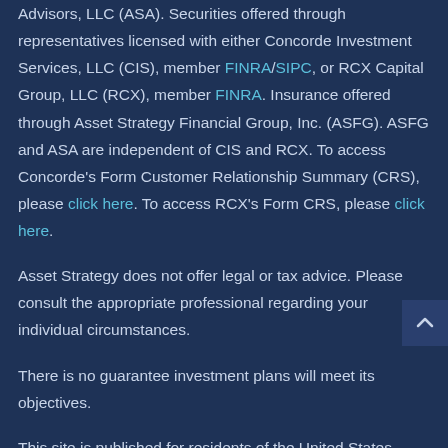Advisors, LLC (ASA). Securities offered through representatives licensed with either Concorde Investment Services, LLC (CIS), member FINRA/SIPC, or RCX Capital Group, LLC (RCX), member FINRA. Insurance offered through Asset Strategy Financial Group, Inc. (ASFG). ASFG and ASA are independent of CIS and RCX. To access Concorde's Form Customer Relationship Summary (CRS), please click here. To access RCX's Form CRS, please click here.
Asset Strategy does not offer legal or tax advice. Please consult the appropriate professional regarding your individual circumstances.
There is no guarantee investment plans will meet its objectives.
This site is published for residents of the United States